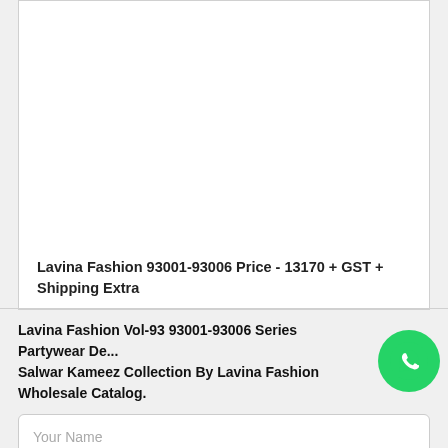[Figure (other): White card area with product image placeholder (blank white space)]
Lavina Fashion 93001-93006 Price - 13170 + GST + Shipping Extra
Lavina Fashion Vol-93 93001-93006 Series Partywear Designer Salwar Kameez Collection By Lavina Fashion Wholesale Catalog.
Your Name
Your Mobile